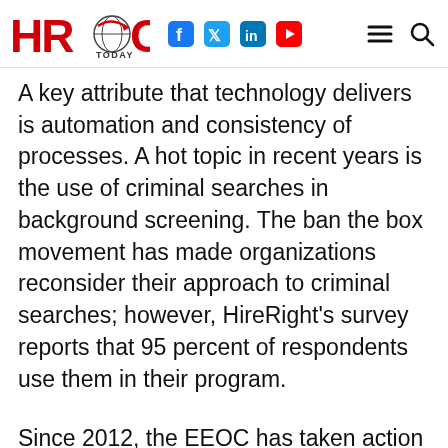HRO Today — social icons: Facebook, Twitter, LinkedIn, YouTube; navigation: menu, search
A key attribute that technology delivers is automation and consistency of processes. A hot topic in recent years is the use of criminal searches in background screening. The ban the box movement has made organizations reconsider their approach to criminal searches; however, HireRight’s survey reports that 95 percent of respondents use them in their program.
Since 2012, the EEOC has taken action against employers that immediately